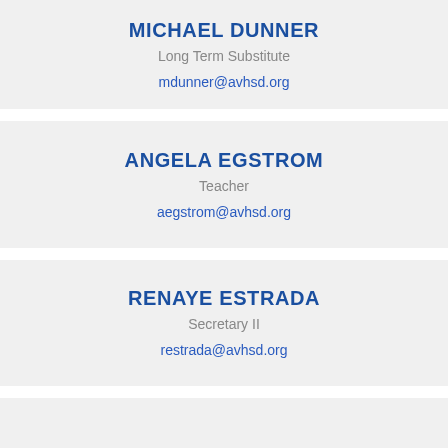MICHAEL DUNNER
Long Term Substitute
mdunner@avhsd.org
ANGELA EGSTROM
Teacher
aegstrom@avhsd.org
RENAYE ESTRADA
Secretary II
restrada@avhsd.org